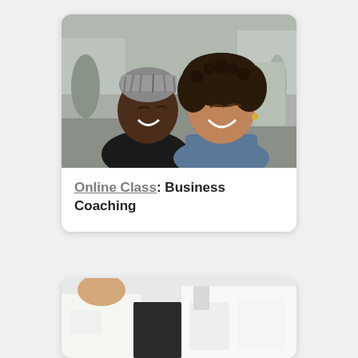[Figure (photo): Two women smiling and leaning close together outdoors on a city street. One woman has braided hair wrapped up, the other has curly hair and is wearing a denim jacket.]
Online Class: Business Coaching
[Figure (photo): People in white coats or shirts, partially visible from the waist down, suggesting a medical or professional setting.]